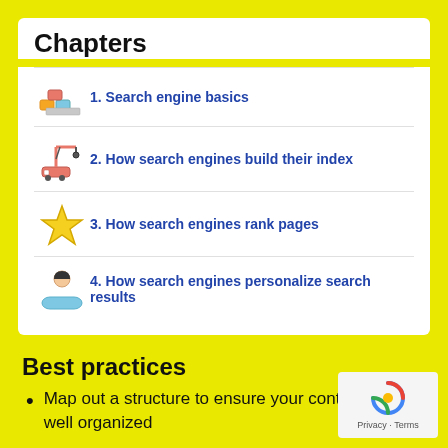Chapters
1. Search engine basics
2. How search engines build their index
3. How search engines rank pages
4. How search engines personalize search results
Best practices
Map out a structure to ensure your content hub is well organized